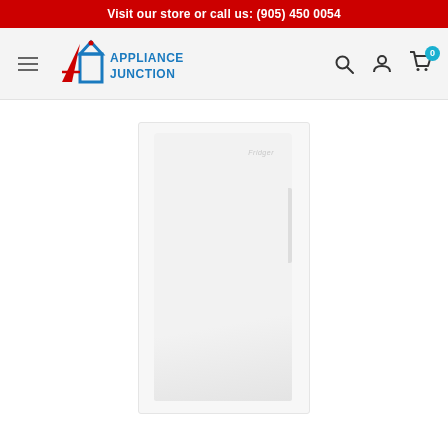Visit our store or call us: (905) 450 0054
[Figure (logo): Appliance Junction logo — stylized A and square house icon in red and blue, with 'APPLIANCE JUNCTION' text in blue]
[Figure (photo): White upright refrigerator or freezer appliance product photo on light grey/white background, with faint brand text near top right of appliance]